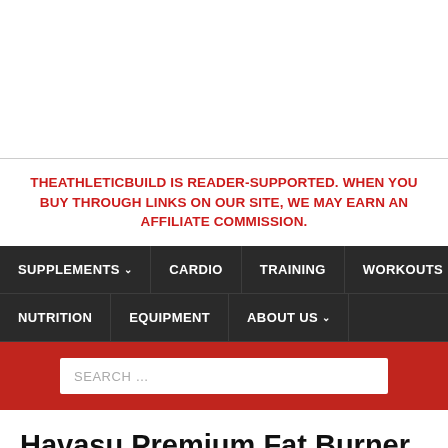THEATHLETICBUILD IS READER-SUPPORTED. WHEN YOU BUY THROUGH LINKS ON OUR SITE, WE MAY EARN AN AFFILIATE COMMISSION.
SUPPLEMENTS  CARDIO  TRAINING  WORKOUTS  NUTRITION  EQUIPMENT  ABOUT US
Havasu Premium Fat Burner Review